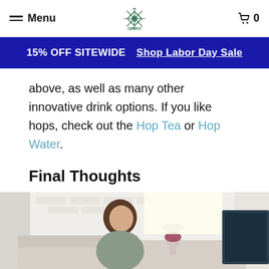Menu | GRUVI | 0
15% OFF SITEWIDE  Shop Labor Day Sale
above, as well as many other innovative drink options. If you like hops, check out the Hop Tea or Hop Water.
Final Thoughts
[Figure (photo): A young woman sitting on a couch, holding and looking at a glass of red wine, with a white brick wall and a dark screen in the background.]